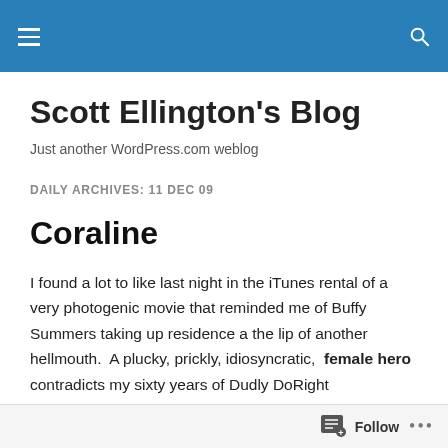Scott Ellington's Blog — site header navigation bar
Scott Ellington's Blog
Just another WordPress.com weblog
DAILY ARCHIVES: 11 DEC 09
Coraline
I found a lot to like last night in the iTunes rental of a very photogenic movie that reminded me of Buffy Summers taking up residence a the lip of another hellmouth.  A plucky, prickly, idiosyncratic,  female hero contradicts my sixty years of Dudly DoRight programming.  I like that kind
Follow ...